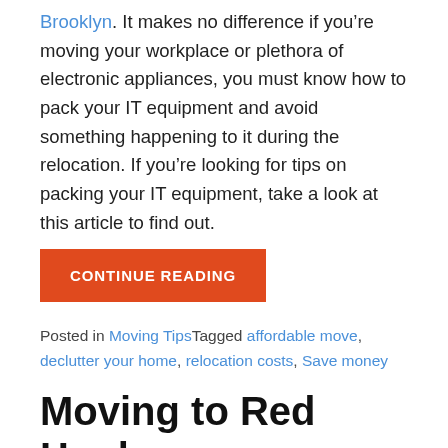Brooklyn. It makes no difference if you’re moving your workplace or plethora of electronic appliances, you must know how to pack your IT equipment and avoid something happening to it during the relocation. If you’re looking for tips on packing your IT equipment, take a look at this article to find out.
CONTINUE READING
Posted in Moving TipsTagged affordable move, declutter your home, relocation costs, Save money
Moving to Red Hook alone: how to get ready